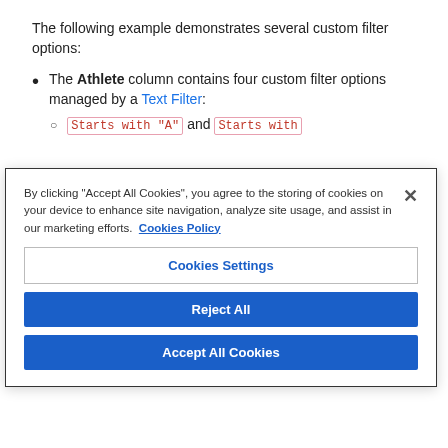The following example demonstrates several custom filter options:
The Athlete column contains four custom filter options managed by a Text Filter:
Starts with "A" and Starts with ...
By clicking “Accept All Cookies”, you agree to the storing of cookies on your device to enhance site navigation, analyze site usage, and assist in our marketing efforts. Cookies Policy
Cookies Settings
Reject All
Accept All Cookies